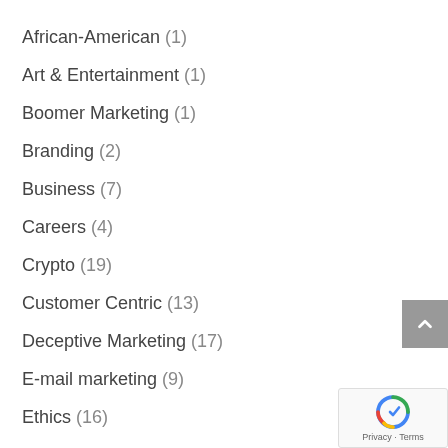African-American (1)
Art & Entertainment (1)
Boomer Marketing (1)
Branding (2)
Business (7)
Careers (4)
Crypto (19)
Customer Centric (13)
Deceptive Marketing (17)
E-mail marketing (9)
Ethics (16)
Facebook (22)